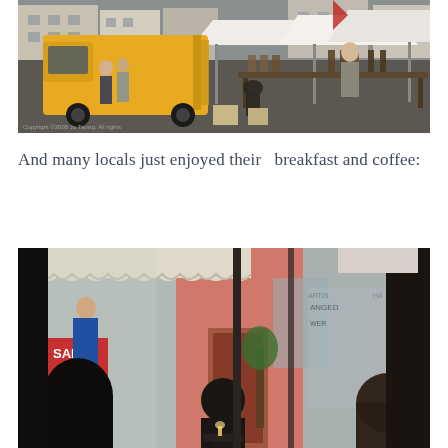[Figure (photo): Outdoor market scene with a yellow delivery van with open rear doors on the left, market stalls with white tents, vendors and shoppers. Urban square setting. Copyright watermark at bottom left.]
And many locals just enjoyed their  breakfast and coffee:
[Figure (photo): View from inside a cafe looking out through large windows onto a street. A person is seated with their back to the camera. Colorful shopfronts visible outside including a pink/salmon building and a shop with SALE 70% sign on the left.]